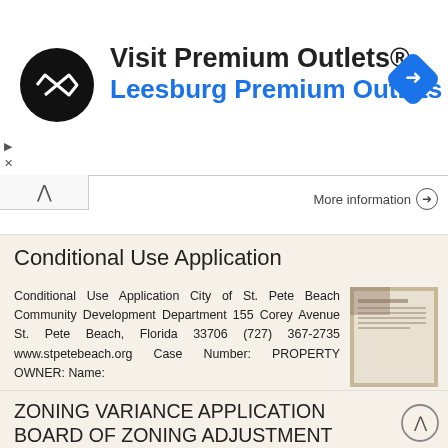[Figure (logo): Visit Premium Outlets advertisement banner with circular logo, navigation icon, business name and subtitle in blue]
More information →
Conditional Use Application
Conditional Use Application City of St. Pete Beach Community Development Department 155 Corey Avenue St. Pete Beach, Florida 33706 (727) 367-2735 www.stpetebeach.org Case Number: PROPERTY OWNER: Name:
More information →
ZONING VARIANCE APPLICATION BOARD OF ZONING ADJUSTMENT